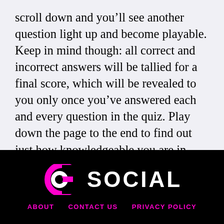scroll down and you'll see another question light up and become playable. Keep in mind though: all correct and incorrect answers will be tallied for a final score, which will be revealed to you only once you've answered each and every question in the quiz. Play down the page to the end to find out just how knowledgeable you are in your chosen subject.
[Figure (logo): Go Social logo — stylized 'GO' icon in pink/white on black, with 'SOCIAL' in white bold letters]
ABOUT   CONTACT US   PRIVACY POLICY